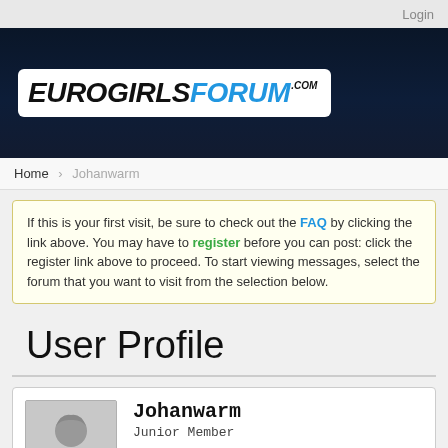Login
[Figure (logo): EuroGirlsForum.com logo — white box with italic bold text: EUROGIRLS in black, FORUM in black, with .com superscript, GIRLS in blue]
Home   Johanwarm
If this is your first visit, be sure to check out the FAQ by clicking the link above. You may have to register before you can post: click the register link above to proceed. To start viewing messages, select the forum that you want to visit from the selection below.
User Profile
Johanwarm
Junior Member
Last Activity: 03-22-2020, 01:25 PM
Joined: 03-22-2020